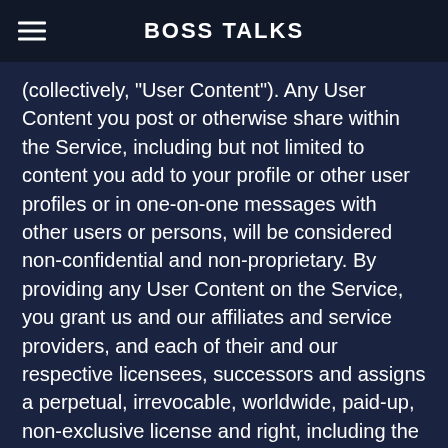BOSS TALKS
(collectively, "User Content"). Any User Content you post or otherwise share within the Service, including but not limited to content you add to your profile or other user profiles or in one-on-one messages with other users or persons, will be considered non-confidential and non-proprietary. By providing any User Content on the Service, you grant us and our affiliates and service providers, and each of their and our respective licensees, successors and assigns a perpetual, irrevocable, worldwide, paid-up, non-exclusive license and right, including the right to sublicense to third parties, to use, reproduce, fix, adapt, modify, translate, reformat, create derivatives works from, publish, sell, license, sublicense, transfer, rent, lease, transmit, publicly perform, publicly display, distribute, or provide access to electronically broadcast, display, perform, enter into computer memory; and the right to use and practice such User Content online or offline in any media format (currently